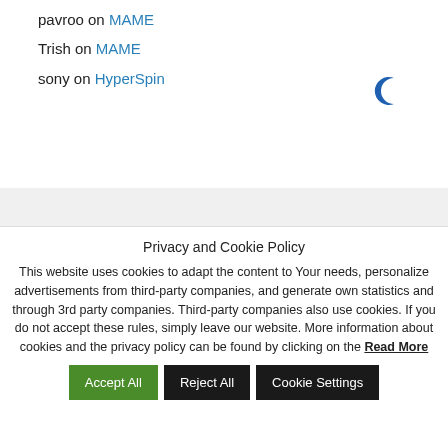pavroo on MAME
Trish on MAME
sony on HyperSpin
Privacy and Cookie Policy
This website uses cookies to adapt the content to Your needs, personalize advertisements from third-party companies, and generate own statistics and through 3rd party companies. Third-party companies also use cookies. If you do not accept these rules, simply leave our website. More information about cookies and the privacy policy can be found by clicking on the Read More
Accept All | Reject All | Cookie Settings